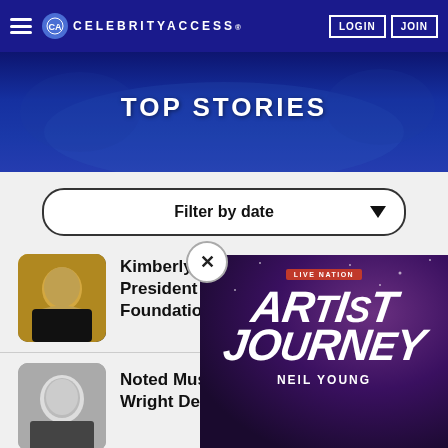CELEBRITYACCESS. LOGIN JOIN
TOP STORIES
Filter by date
Kimberly Horton Named Interim President & CEO Of The Blues Foundation
Noted Music Photographer Tom Wright Dead At 73
The Performers Ani... Mercury Prize
Noted Concert Pro...
[Figure (screenshot): Live Nation Artist Journey - Neil Young popup advertisement]